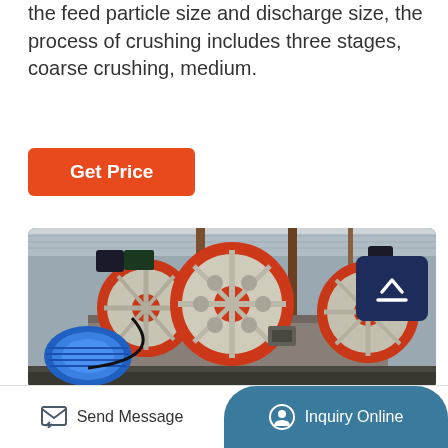the feed particle size and discharge size, the process of crushing includes three stages, coarse crushing, medium.
[Figure (other): Orange button labeled 'Get Price']
[Figure (photo): Industrial jaw crusher equipment in a factory/workshop setting, showing large red and white flywheels, a blue electric motor, conveyor belts, and structural steel framework under a metal roof.]
Send Message
Inquiry Online